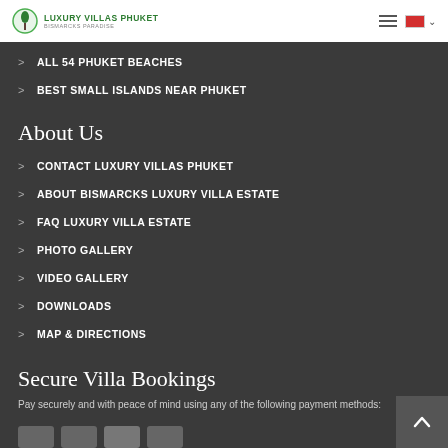LUXURY VILLAS PHUKET – BISMARCKS PARADISE
ALL 54 PHUKET BEACHES
BEST SMALL ISLANDS NEAR PHUKET
About Us
CONTACT LUXURY VILLAS PHUKET
ABOUT BISMARCKS LUXURY VILLA ESTATE
FAQ LUXURY VILLA ESTATE
PHOTO GALLERY
VIDEO GALLERY
DOWNLOADS
MAP & DIRECTIONS
Secure Villa Bookings
Pay securely and with peace of mind using any of the following payment methods: